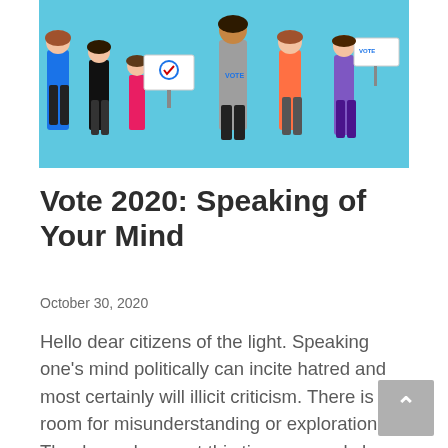[Figure (illustration): Colorful illustration of diverse people engaged in civic/voting activities on a light blue background. People holding signs, wearing 'VOTE' shirts, and participating in civic engagement.]
Vote 2020: Speaking of Your Mind
October 30, 2020
Hello dear citizens of the light. Speaking one's mind politically can incite hatred and most certainly will illicit criticism. There is no room for misunderstanding or exploration. Thank goodness, at this time, one only has to listen, learn and choose a candidate that represents one's hopes on most of the issues